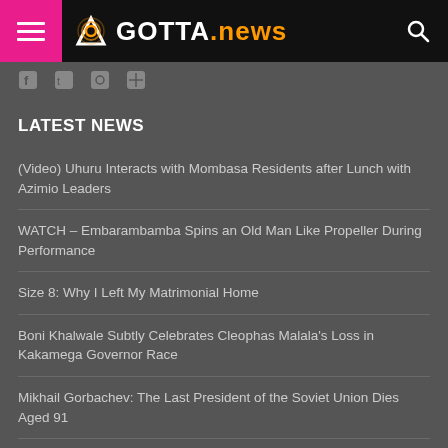GOTTA.news
LATEST NEWS
(Video) Uhuru Interacts with Mombasa Residents after Lunch with Azimio Leaders
WATCH – Embarambamba Spins an Old Man Like Propeller During Performance
Size 8: Why I Left My Matrimonial Home
Boni Khalwale Subtly Celebrates Cleophas Malala's Loss in Kakamega Governor Race
Mikhail Gorbachev: The Last President of the Soviet Union Dies Aged 91
POPULAR TAGS
FEATURED
KENYA NEWS
CELEBRITY NEWS
KENYA POLITICS